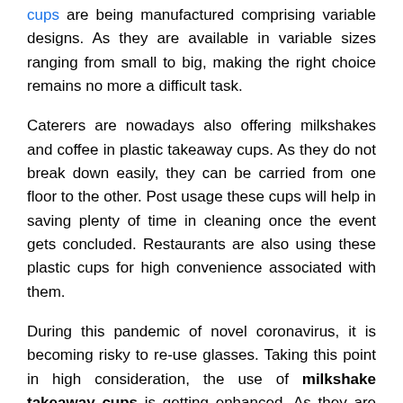cups are being manufactured comprising variable designs. As they are available in variable sizes ranging from small to big, making the right choice remains no more a difficult task.
Caterers are nowadays also offering milkshakes and coffee in plastic takeaway cups. As they do not break down easily, they can be carried from one floor to the other. Post usage these cups will help in saving plenty of time in cleaning once the event gets concluded. Restaurants are also using these plastic cups for high convenience associated with them.
During this pandemic of novel coronavirus, it is becoming risky to re-use glasses. Taking this point in high consideration, the use of milkshake takeaway cups is getting enhanced. As they are disposable, there will be hardly any chance of re-using the glass of each other. Such